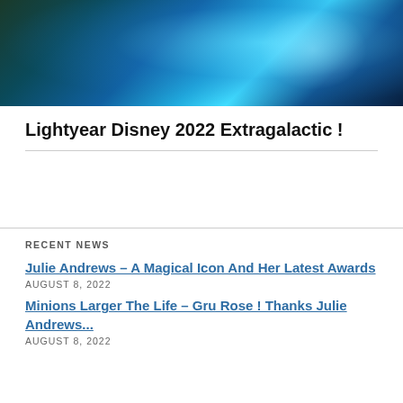[Figure (photo): Movie promotional image for Lightyear Disney 2022, showing a bright blue/teal glowing digital space scene]
Lightyear Disney 2022 Extragalactic !
RECENT NEWS
Julie Andrews – A Magical Icon And Her Latest Awards
AUGUST 8, 2022
Minions Larger The Life – Gru Rose ! Thanks Julie Andrews...
AUGUST 8, 2022